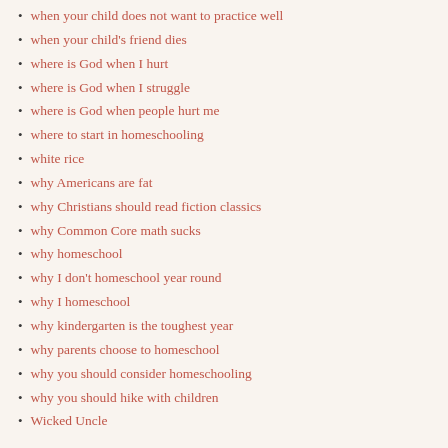when your child does not want to practice well
when your child's friend dies
where is God when I hurt
where is God when I struggle
where is God when people hurt me
where to start in homeschooling
white rice
why Americans are fat
why Christians should read fiction classics
why Common Core math sucks
why homeschool
why I don't homeschool year round
why I homeschool
why kindergarten is the toughest year
why parents choose to homeschool
why you should consider homeschooling
why you should hike with children
Wicked Uncle